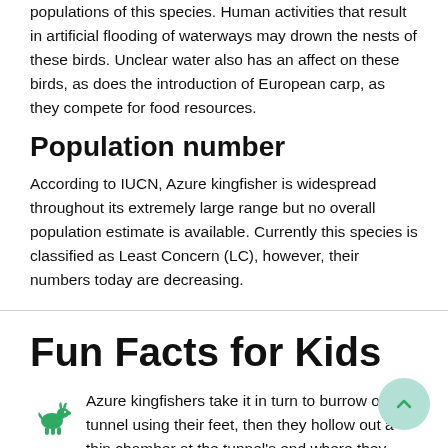populations of this species. Human activities that result in artificial flooding of waterways may drown the nests of these birds. Unclear water also has an affect on these birds, as does the introduction of European carp, as they compete for food resources.
Population number
According to IUCN, Azure kingfisher is widespread throughout its extremely large range but no overall population estimate is available. Currently this species is classified as Least Concern (LC), however, their numbers today are decreasing.
Fun Facts for Kids
Azure kingfishers take it in turn to burrow out a tunnel using their feet, then they hollow out a thin chamber at the tunnel's end where they